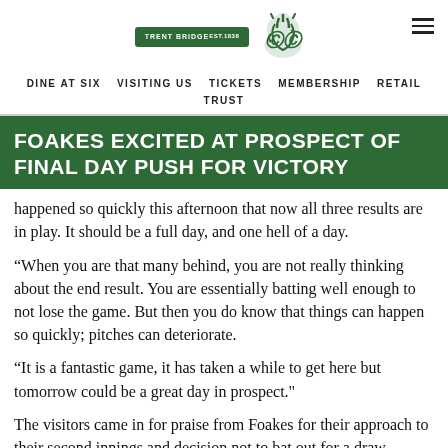TRENT BRIDGE | [CCC logo] | DINE AT SIX  VISITING US  TICKETS  MEMBERSHIP  RETAIL  TRUST
FOAKES EXCITED AT PROSPECT OF FINAL DAY PUSH FOR VICTORY
happened so quickly this afternoon that now all three results are in play. It should be a full day, and one hell of a day.
“When you are that many behind, you are not really thinking about the end result. You are essentially batting well enough to not lose the game. But then you do know that things can happen so quickly; pitches can deteriorate.
“It is a fantastic game, it has taken a while to get here but tomorrow could be a great day in prospect."
The visitors came in for praise from Foakes for their approach to their second innings and decision not to bat out for a draw.